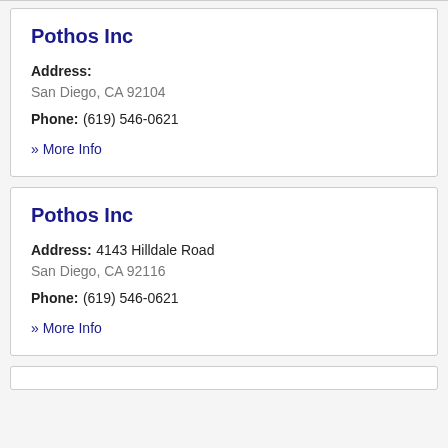Pothos Inc
Address: San Diego, CA 92104
Phone: (619) 546-0621
» More Info
Pothos Inc
Address: 4143 Hilldale Road San Diego, CA 92116
Phone: (619) 546-0621
» More Info